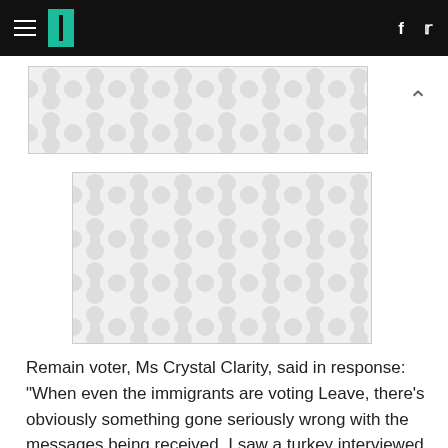HuffPost UK navigation header with hamburger menu, logo, Facebook and Twitter icons
[Figure (other): Advertisement placeholder with decorative grey pattern (rounded dumbbell shapes on light background)]
[Figure (other): Advertisement placeholder with decorative grey pattern (rounded dumbbell shapes on light background), larger size]
Remain voter, Ms Crystal Clarity, said in response: "When even the immigrants are voting Leave, there's obviously something gone seriously wrong with the messages being received. I saw a turkey interviewed on Sky News earlier today. He was saying how much he